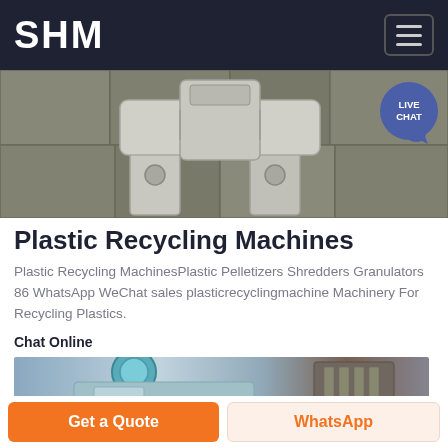SHM
[Figure (photo): Close-up photo of gray metal machine part (casting/bracket) on a stone floor — plastic recycling machinery component]
Plastic Recycling Machines
Plastic Recycling MachinesPlastic Pelletizers Shredders Granulators 86 WhatsApp WeChat sales plasticrecyclingmachine Machinery For Recycling Plastics.
Chat Online
[Figure (photo): Photo of light-blue painted metal machine parts in a workshop setting]
Get a Quote
WhatsApp